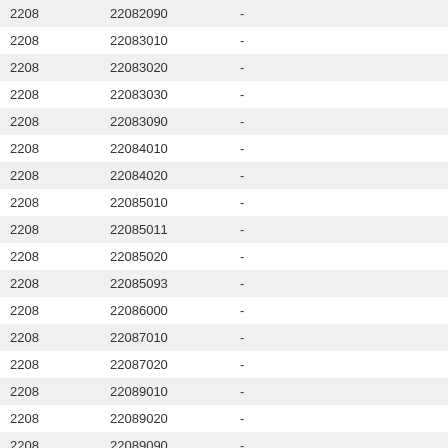| 2208 | 22082090 | - | 0% |
| 2208 | 22083010 | - | 0% |
| 2208 | 22083020 | - | 0% |
| 2208 | 22083030 | - | 0% |
| 2208 | 22083090 | - | 0% |
| 2208 | 22084010 | - | 0% |
| 2208 | 22084020 | - | 0% |
| 2208 | 22085010 | - | 0% |
| 2208 | 22085011 | - | 0% |
| 2208 | 22085020 | - | 0% |
| 2208 | 22085093 | - | 0% |
| 2208 | 22086000 | - | 0% |
| 2208 | 22087010 | - | 0% |
| 2208 | 22087020 | - | 0% |
| 2208 | 22089010 | - | 0% |
| 2208 | 22089020 | - | 0% |
| 2208 | 22089090 | - | 0% |
| 6906 | 6906 | CERAMIC PIPES, CONDUITS, GUTTERING | 18% |